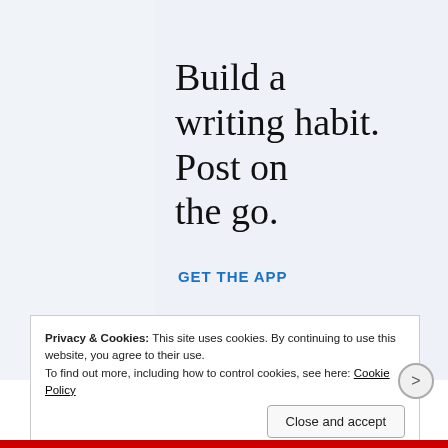Build a writing habit. Post on the go.
GET THE APP
Privacy & Cookies: This site uses cookies. By continuing to use this website, you agree to their use.
To find out more, including how to control cookies, see here: Cookie Policy
Close and accept